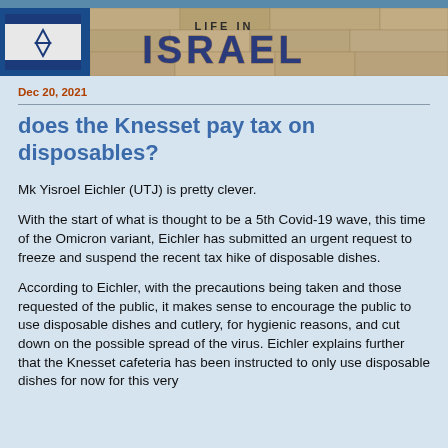[Figure (illustration): Life in Israel blog header banner with Israeli flag and stone wall background, text 'LIFE IN ISRAEL']
Dec 20, 2021
does the Knesset pay tax on disposables?
Mk Yisroel Eichler (UTJ) is pretty clever.
With the start of what is thought to be a 5th Covid-19 wave, this time of the Omicron variant, Eichler has submitted an urgent request to freeze and suspend the recent tax hike of disposable dishes.
According to Eichler, with the precautions being taken and those requested of the public, it makes sense to encourage the public to use disposable dishes and cutlery, for hygienic reasons, and cut down on the possible spread of the virus. Eichler explains further that the Knesset cafeteria has been instructed to only use disposable dishes for now for this very